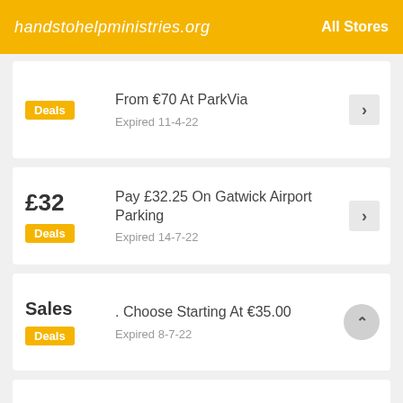handstohelpministries.org   All Stores
From €70 At ParkVia | Expired 11-4-22 | Deals
£32 | Pay £32.25 On Gatwick Airport Parking | Expired 14-7-22 | Deals
Sales | . Choose Starting At €35.00 | Expired 8-7-22 | Deals